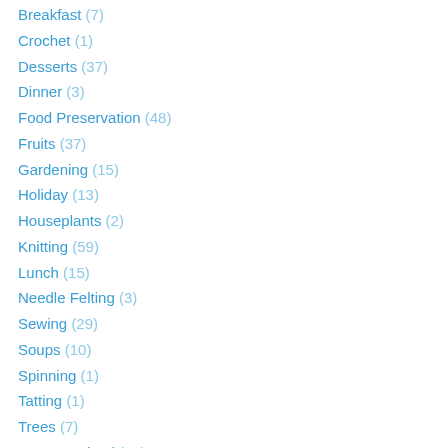Breakfast (7)
Crochet (1)
Desserts (37)
Dinner (3)
Food Preservation (48)
Fruits (37)
Gardening (15)
Holiday (13)
Houseplants (2)
Knitting (59)
Lunch (15)
Needle Felting (3)
Sewing (29)
Soups (10)
Spinning (1)
Tatting (1)
Trees (7)
Uncategorized (12)
Vegetables (51)
Woodland Edibles (5)